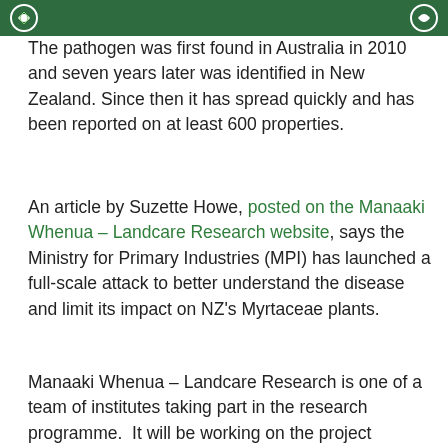[Figure (logo): Green banner with Manaaki Whenua Landcare Research logos on left and right]
The pathogen was first found in Australia in 2010 and seven years later was identified in New Zealand. Since then it has spread quickly and has been reported on at least 600 properties.
An article by Suzette Howe, posted on the Manaaki Whenua – Landcare Research website, says the Ministry for Primary Industries (MPI) has launched a full-scale attack to better understand the disease and limit its impact on NZ's Myrtaceae plants.
Manaaki Whenua – Landcare Research is one of a team of institutes taking part in the research programme.  It will be working on the project